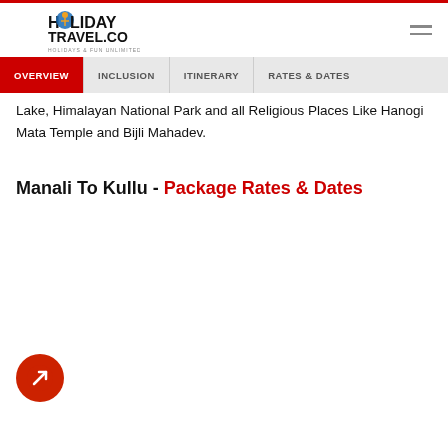Holiday Travel .co - Holidays & Fun Unlimited
OVERVIEW | INCLUSION | ITINERARY | RATES & DATES
Lake, Himalayan National Park and all Religious Places Like Hanogi Mata Temple and Bijli Mahadev.
Manali To Kullu - Package Rates & Dates
[Figure (other): Circular red floating action button with a diagonal arrow/compass icon]